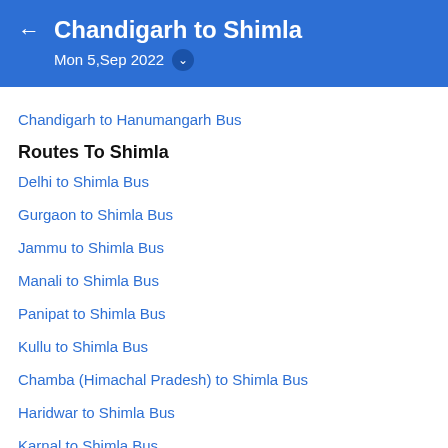Chandigarh to Shimla
Mon 5,Sep 2022
Chandigarh to Hanumangarh Bus
Routes To Shimla
Delhi to Shimla Bus
Gurgaon to Shimla Bus
Jammu to Shimla Bus
Manali to Shimla Bus
Panipat to Shimla Bus
Kullu to Shimla Bus
Chamba (Himachal Pradesh) to Shimla Bus
Haridwar to Shimla Bus
Karnal to Shimla Bus
Sonipat to Shimla Bus